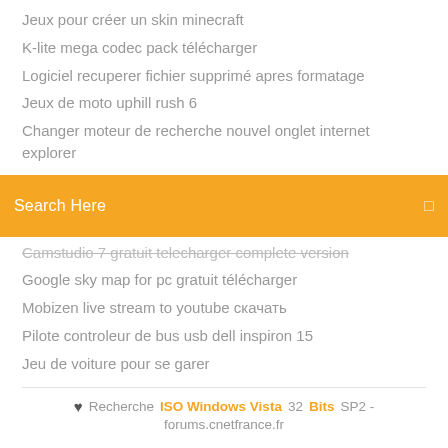Jeux pour créer un skin minecraft
K-lite mega codec pack télécharger
Logiciel recuperer fichier supprimé apres formatage
Jeux de moto uphill rush 6
Changer moteur de recherche nouvel onglet internet explorer
[Figure (screenshot): Orange search bar with 'Search Here' placeholder text and a small icon on the right]
Camstudio 7 gratuit telecharger complete version
Google sky map for pc gratuit télécharger
Mobizen live stream to youtube скачать
Pilote controleur de bus usb dell inspiron 15
Jeu de voiture pour se garer
Recherche ISO Windows Vista 32 Bits SP2 - forums.cnetfrance.fr
[Figure (infographic): Row of social media icons: Facebook, Twitter, globe/behance icon, Behance]